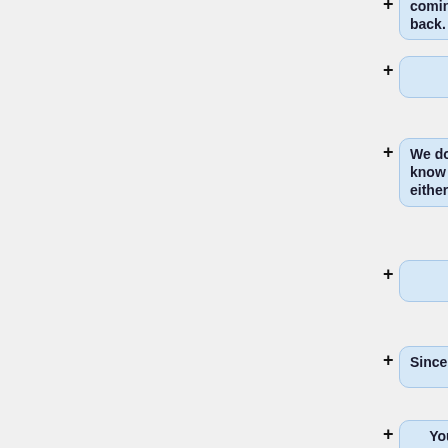coming back.
We don't know y either.
Sincerely,
Your Students.
</pre>
----
===Theorem: All Numbers Are Interesting===
Proof: Suppose